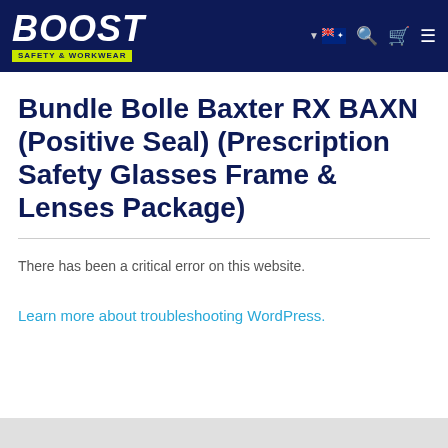[Figure (logo): Boost Safety & Workwear logo — white bold italic BOOST text with yellow-green SAFETY & WORKWEAR tagline on dark navy navigation bar]
Bundle Bolle Baxter RX BAXN (Positive Seal) (Prescription Safety Glasses Frame & Lenses Package)
There has been a critical error on this website.
Learn more about troubleshooting WordPress.